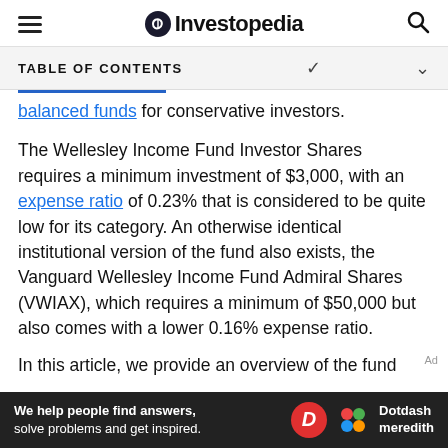Investopedia
TABLE OF CONTENTS
balanced funds for conservative investors.
The Wellesley Income Fund Investor Shares requires a minimum investment of $3,000, with an expense ratio of 0.23% that is considered to be quite low for its category. An otherwise identical institutional version of the fund also exists, the Vanguard Wellesley Income Fund Admiral Shares (VWIAX), which requires a minimum of $50,000 but also comes with a lower 0.16% expense ratio.
In this article, we provide an overview of the fund